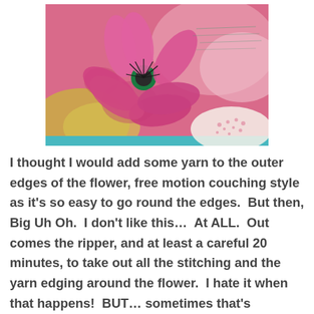[Figure (photo): A close-up photo of a pink floral art quilt piece with a large pink flower at center-left, green center, yellow fabric sections, decorative swirl patterns, and a white crocheted lace element in the bottom right corner. The background has a painterly pink wash with script writing.]
I thought I would add some yarn to the outer edges of the flower, free motion couching style as it's so easy to go round the edges.  But then, Big Uh Oh.  I don't like this…  At ALL.  Out comes the ripper, and at least a careful 20 minutes, to take out all the stitching and the yarn edging around the flower.  I hate it when that happens!  BUT… sometimes that's